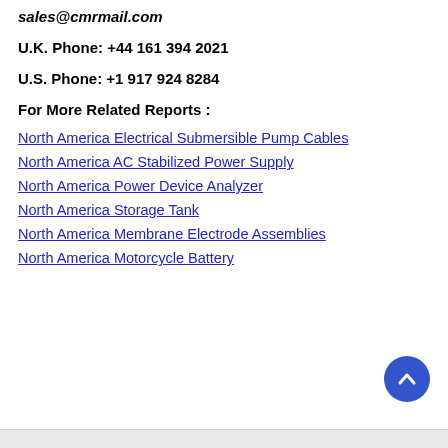Email: sales@cmrmail.com
U.K. Phone: +44 161 394 2021
U.S. Phone: +1 917 924 8284
For More Related Reports :
North America Electrical Submersible Pump Cables
North America AC Stabilized Power Supply
North America Power Device Analyzer
North America Storage Tank
North America Membrane Electrode Assemblies
North America Motorcycle Battery